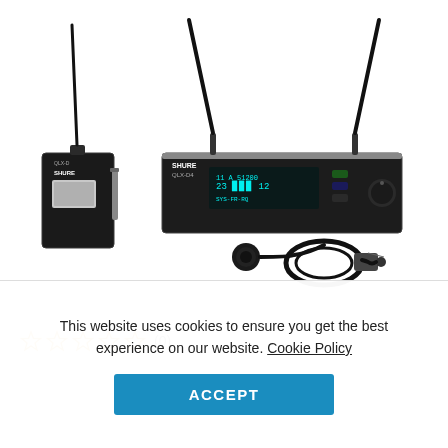[Figure (photo): Shure wireless microphone system product photo showing a bodypack transmitter with antenna, a rack-mount receiver unit with two antennas and display, and a lavalier microphone with cable — all on white background]
☆ ☆ ☆ ☆ ☆ (0)
This website uses cookies to ensure you get the best experience on our website. Cookie Policy
ACCEPT